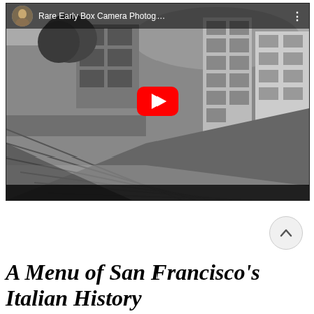[Figure (screenshot): YouTube video thumbnail showing a black and white early box camera photograph of a San Francisco street scene with buildings on the right and sloped terrain on the left. The video title reads 'Rare Early Box Camera Photog...' with a YouTube play button overlay and a small avatar in the top left corner.]
A Menu of San Francisco's Italian History